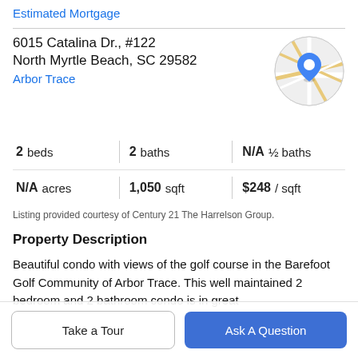Estimated Mortgage
6015 Catalina Dr., #122
North Myrtle Beach, SC 29582
Arbor Trace
[Figure (map): Circular map thumbnail with a blue location pin marker]
| 2 beds | 2 baths | N/A ½ baths |
| N/A acres | 1,050 sqft | $248 / sqft |
Listing provided courtesy of Century 21 The Harrelson Group.
Property Description
Beautiful condo with views of the golf course in the Barefoot Golf Community of Arbor Trace. This well maintained 2 bedroom and 2 bathroom condo is in great
Take a Tour
Ask A Question